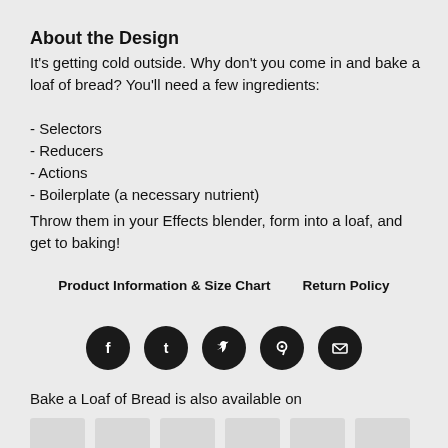About the Design
It's getting cold outside. Why don't you come in and bake a loaf of bread? You'll need a few ingredients:
- Selectors
- Reducers
- Actions
- Boilerplate (a necessary nutrient)
Throw them in your Effects blender, form into a loaf, and get to baking!
Product Information & Size Chart   Return Policy
[Figure (other): Social media share icons: Facebook, Tumblr, Twitter, Pinterest, Email — white icons on dark circular backgrounds]
Bake a Loaf of Bread is also available on
[Figure (other): Row of 6 product thumbnail placeholder images (light gray rectangles)]